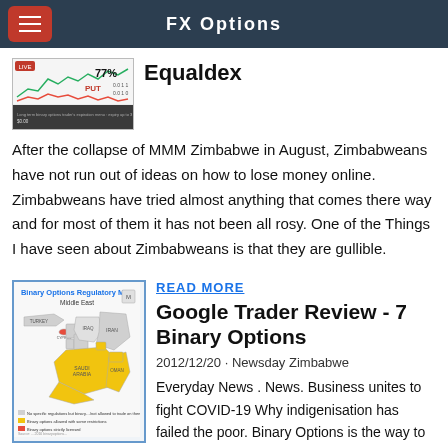FX Options
Equaldex
After the collapse of MMM Zimbabwe in August, Zimbabweans have not run out of ideas on how to lose money online. Zimbabweans have tried almost anything that comes there way and for most of them it has not been all rosy. One of the Things I have seen about Zimbabweans is that they are gullible.
READ MORE
Google Trader Review - 7 Binary Options
2012/12/20 · Newsday Zimbabwe Everyday News . News. Business unites to fight COVID-19 Why indigenisation has failed the poor. Binary Options is the way to make money online! Reply.
[Figure (screenshot): Binary options trading platform screenshot showing 77% and PUT options]
[Figure (map): Binary Options Regulatory Map - Middle East showing countries colored by regulation status]